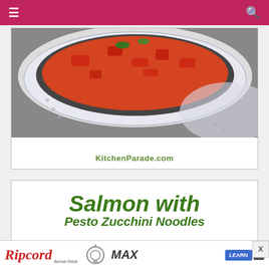≡   🔍
[Figure (photo): A bowl of tomato soup or stew with red peppers and herbs on a decorative plate with KitchenParade.com watermark]
KitchenParade.com
[Figure (illustration): Text graphic reading 'Salmon with Pesto Zucchini Noodles' in bold green italic font on white background]
Salmon with Pesto Zucchini Noodles
Ripcord Arrow Rest — LEARN MORE — MAX — advertisement banner